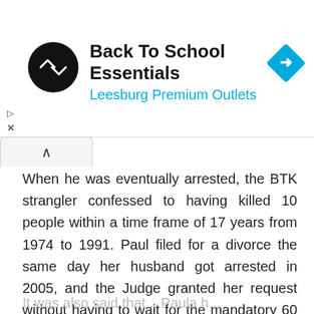[Figure (screenshot): Ad banner for Back To School Essentials at Leesburg Premium Outlets, with round black logo showing a double-arrow symbol and a blue diamond navigation icon on the right.]
When he was eventually arrested, the BTK strangler confessed to having killed 10 people within a time frame of 17 years from 1974 to 1991. Paul filed for a divorce the same day her husband got arrested in 2005, and the Judge granted her request without having to wait for the mandatory 60 days.
It was also said that...